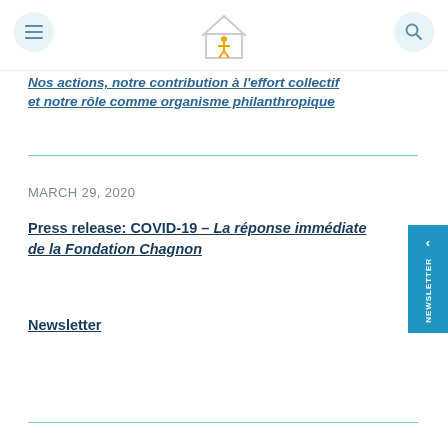[Logo: Fondation Chagnon house icon with hamburger menu and search button]
Nos actions, notre contribution à l'effort collectif et notre rôle comme organisme philanthropique
MARCH 29, 2020
Press release: COVID-19 – La réponse immédiate de la Fondation Chagnon
Newsletter